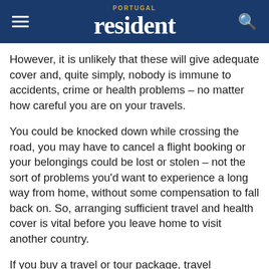PORTUGAL resident
However, it is unlikely that these will give adequate cover and, quite simply, nobody is immune to accidents, crime or health problems – no matter how careful you are on your travels.
You could be knocked down while crossing the road, you may have to cancel a flight booking or your belongings could be lost or stolen – not the sort of problems you'd want to experience a long way from home, without some compensation to fall back on. So, arranging sufficient travel and health cover is vital before you leave home to visit another country.
If you buy a travel or tour package, travel insurance and health cover is often included. This type of standard cover is convenient but will not be tailored